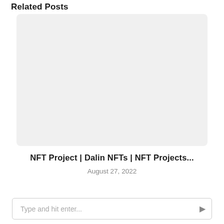Related Posts
[Figure (other): Gray placeholder image box with rounded corners for a blog post thumbnail]
NFT Project | Dalin NFTs | NFT Projects...
August 27, 2022
Type and hit enter...